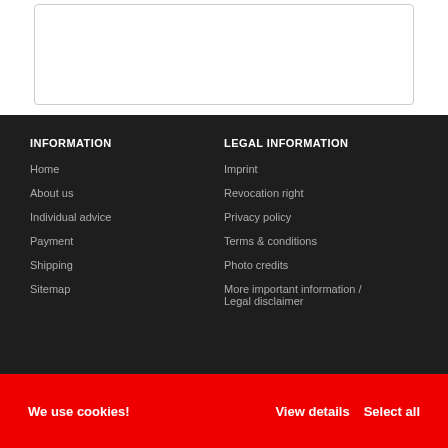[Figure (other): White card/box area at top of page]
INFORMATION
Home
About us
Individual advice
Payment
Shipping
Sitemap
LEGAL INFORMATION
Imprint
Revocation right
Privacy policy
Terms & conditions
Photo credits
More important information / Legal disclaimer
We use cookies!  View details  Select all